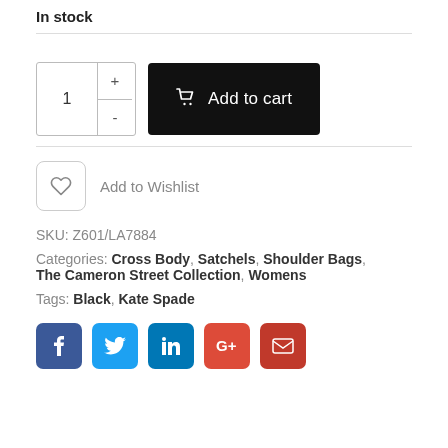In stock
1 + - Add to cart
Add to Wishlist
SKU: Z601/LA7884
Categories: Cross Body, Satchels, Shoulder Bags, The Cameron Street Collection, Womens
Tags: Black, Kate Spade
[Figure (other): Social share buttons: Facebook, Twitter, LinkedIn, Google+, Email]